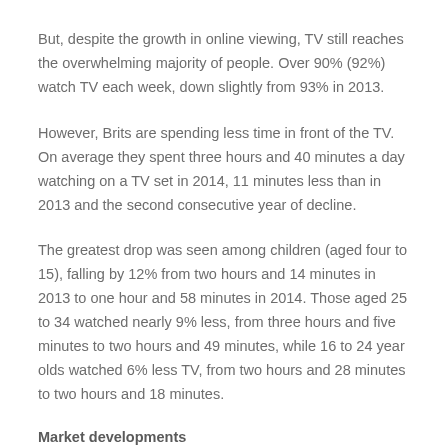But, despite the growth in online viewing, TV still reaches the overwhelming majority of people. Over 90% (92%) watch TV each week, down slightly from 93% in 2013.
However, Brits are spending less time in front of the TV. On average they spent three hours and 40 minutes a day watching on a TV set in 2014, 11 minutes less than in 2013 and the second consecutive year of decline.
The greatest drop was seen among children (aged four to 15), falling by 12% from two hours and 14 minutes in 2013 to one hour and 58 minutes in 2014. Those aged 25 to 34 watched nearly 9% less, from three hours and five minutes to two hours and 49 minutes, while 16 to 24 year olds watched 6% less TV, from two hours and 28 minutes to two hours and 18 minutes.
Market developments